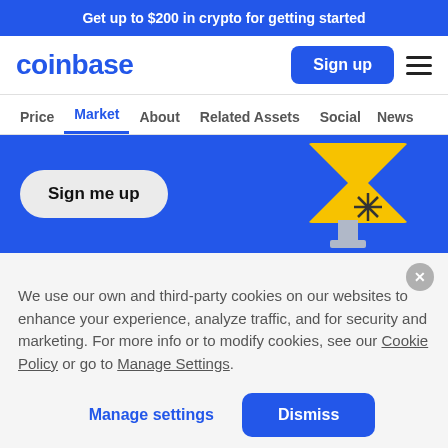Get up to $200 in crypto for getting started
[Figure (logo): Coinbase logo in blue text]
Sign up
Price  Market  About  Related Assets  Social  News
[Figure (illustration): Blue promotional banner with 'Sign me up' button and yellow/blue trophy illustration on right side]
We use our own and third-party cookies on our websites to enhance your experience, analyze traffic, and for security and marketing. For more info or to modify cookies, see our Cookie Policy or go to Manage Settings.
Manage settings
Dismiss